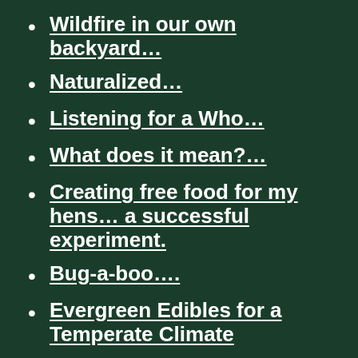Wildfire in our own backyard…
Naturalized…
Listening for a Who…
What does it mean?…
Creating free food for my hens… a successful experiment.
Bug-a-boo….
Evergreen Edibles for a Temperate Climate
Inspiration for the small acts of love…
The Art of Shuffling Plants Around…
Better Living Through Ch…